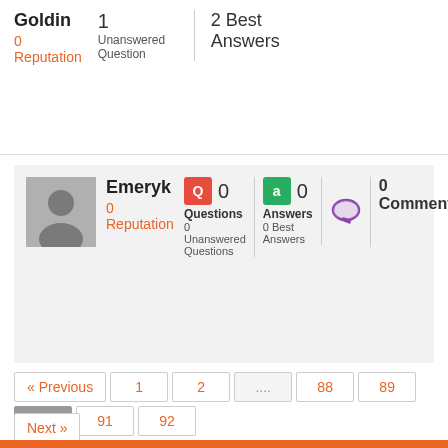Goldin
0
Reputation
1
Unanswered Question
2 Best Answers
[Figure (illustration): User avatar placeholder silhouette icon]
Emeryk
0
Reputation
0 Questions
0 Unanswered Questions
0 Answers
0 Best Answers
0 Comments
« Previous  1  2  ....  88  89  90  91  92
Next »